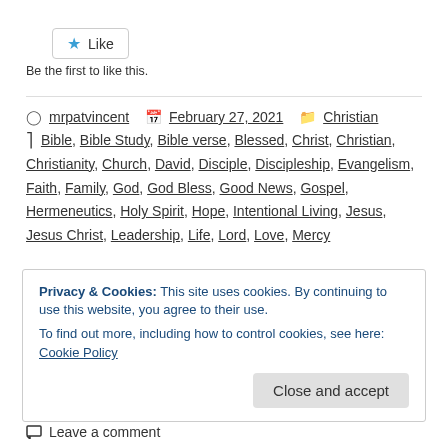[Figure (other): Like button with blue star icon]
Be the first to like this.
mrpatvincent  February 27, 2021  Christian
Bible, Bible Study, Bible verse, Blessed, Christ, Christian, Christianity, Church, David, Disciple, Discipleship, Evangelism, Faith, Family, God, God Bless, Good News, Gospel, Hermeneutics, Holy Spirit, Hope, Intentional Living, Jesus, Jesus Christ, Leadership, Life, Lord, Love, Mercy
Privacy & Cookies: This site uses cookies. By continuing to use this website, you agree to their use. To find out more, including how to control cookies, see here: Cookie Policy
Close and accept
Leave a comment